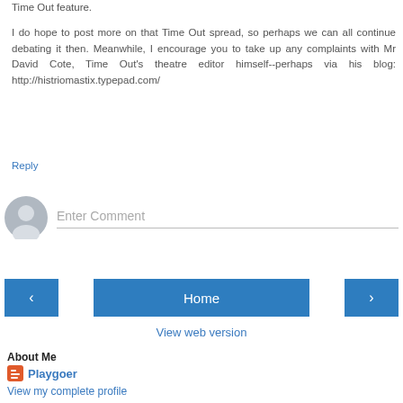Time Out feature.

I do hope to post more on that Time Out spread, so perhaps we can all continue debating it then. Meanwhile, I encourage you to take up any complaints with Mr David Cote, Time Out's theatre editor himself--perhaps via his blog: http://histriomastix.typepad.com/
Reply
[Figure (other): Comment input area with avatar icon and placeholder text 'Enter Comment']
[Figure (other): Navigation bar with left arrow button, Home button, and right arrow button]
View web version
About Me
Playgoer
View my complete profile